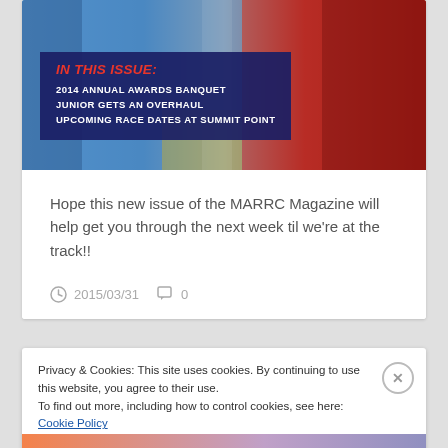[Figure (photo): Motorcycle racers photo with blue and red racing bikes/gear, used as magazine cover image]
IN THIS ISSUE:
2014 ANNUAL AWARDS BANQUET
JUNIOR GETS AN OVERHAUL
UPCOMING RACE DATES AT SUMMIT POINT
Hope this new issue of the MARRC Magazine will help get you through the next week til we're at the track!!
2015/03/31   0
Privacy & Cookies: This site uses cookies. By continuing to use this website, you agree to their use.
To find out more, including how to control cookies, see here: Cookie Policy
Close and accept